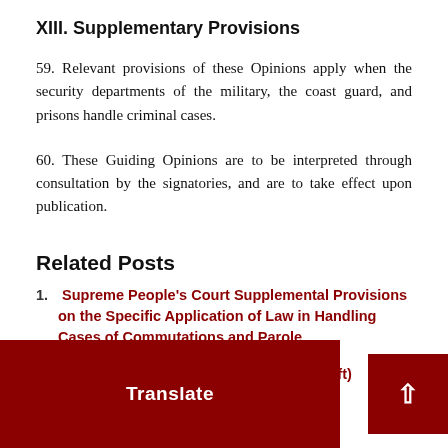XIII. Supplementary Provisions
59. Relevant provisions of these Opinions apply when the security departments of the military, the coast guard, and prisons handle criminal cases.
60. These Guiding Opinions are to be interpreted through consultation by the signatories, and are to take effect upon publication.
Related Posts
Supreme People's Court Supplemental Provisions on the Specific Application of Law in Handling Cases of Commutations and Parole
P.R.C. Community Corrections Law (Draft)
n Protection of Parties' Lawful Ri… Death Penalty Review and …dures